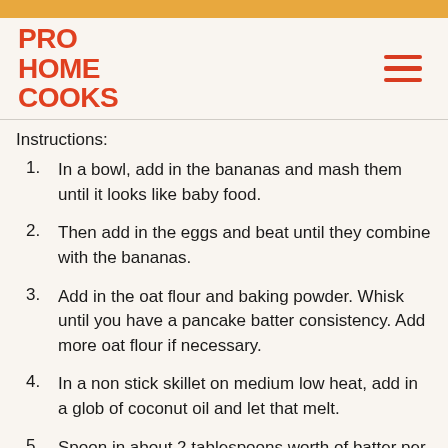[Figure (logo): Pro Home Cooks logo in red bold text]
Instructions:
In a bowl, add in the bananas and mash them until it looks like baby food.
Then add in the eggs and beat until they combine with the bananas.
Add in the oat flour and baking powder. Whisk until you have a pancake batter consistency. Add more oat flour if necessary.
In a non stick skillet on medium low heat, add in a glob of coconut oil and let that melt.
Spoon in about 2 tablespoons worth of batter per each pancake. Drop in some blueberries and let it get golden brown before flipping.